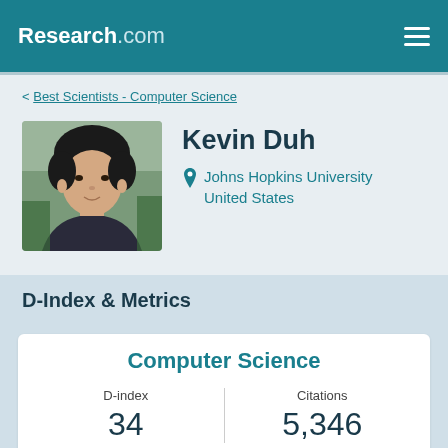Research.com
< Best Scientists - Computer Science
[Figure (photo): Profile photo of Kevin Duh, a young Asian man with short black hair, wearing a dark hoodie, photographed outdoors with a blurred background.]
Kevin Duh
Johns Hopkins University
United States
D-Index & Metrics
Computer Science
| D-index | Citations |
| --- | --- |
| 34 | 5,346 |